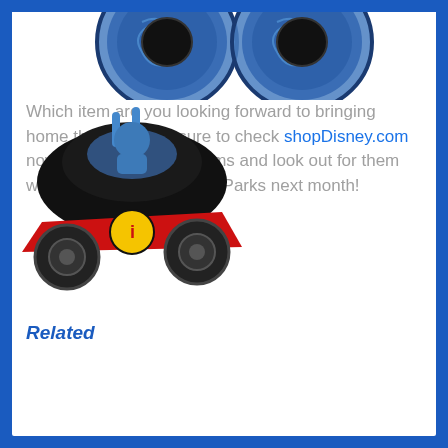[Figure (photo): Two blue decorative stroller wheels with swirling patterns, partially visible at top of page]
[Figure (photo): The Incredibles themed stroller/ride-on car toy, black with red accents and The Incredibles logo, overlapping the text]
Which item are you looking forward to bringing home the most? Be sure to check shopDisney.com now for these Holiday items and look out for them when they drop at Disney Parks next month!
Related